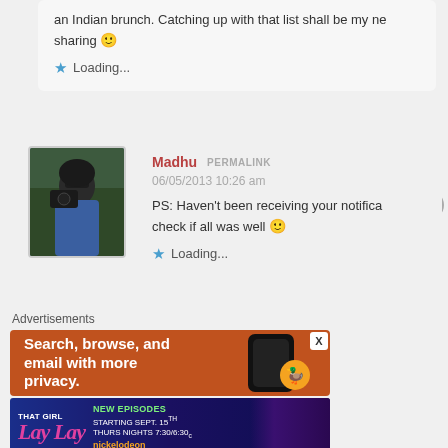an Indian brunch. Catching up with that list shall be my next act of sharing 🙂
Loading...
[Figure (photo): Avatar photo of a person holding a camera]
Madhu  PERMALINK
06/05/2013 10:26 am
PS: Haven't been receiving your notifications, came here to check if all was well 🙂
Loading...
Advertisements
[Figure (screenshot): Ad banner: Search, browse, and email with more privacy. DuckDuckGo.]
[Figure (screenshot): Ad banner: That Girl Lay Lay New Episodes Starting Sept. 15th Thurs Nights 7:30/6:30c Nickelodeon]